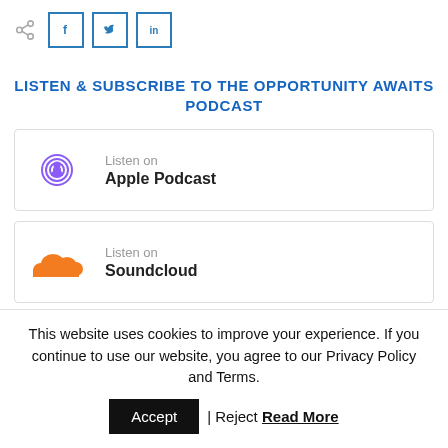[Figure (infographic): Share icon followed by three social media icon buttons: Facebook (f), Twitter (bird), LinkedIn (in), each outlined in blue]
LISTEN & SUBSCRIBE TO THE OPPORTUNITY AWAITS PODCAST
[Figure (logo): Apple Podcast icon (purple podcast logo) with text: Listen on / Apple Podcast]
[Figure (logo): SoundCloud icon (orange cloud logo) with text: Listen on / Soundcloud]
This website uses cookies to improve your experience. If you continue to use our website, you agree to our Privacy Policy and Terms.
Accept | Reject Read More